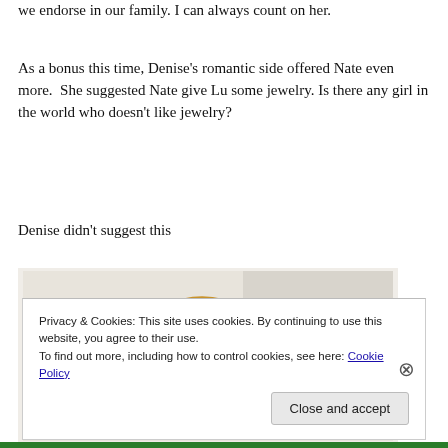we endorse in our family. I can always count on her.
As a bonus this time, Denise's romantic side offered Nate even more.  She suggested Nate give Lu some jewelry. Is there any girl in the world who doesn't like jewelry?
Denise didn't suggest this
[Figure (photo): A gold chain necklace on a light background]
Privacy & Cookies: This site uses cookies. By continuing to use this website, you agree to their use.
To find out more, including how to control cookies, see here: Cookie Policy